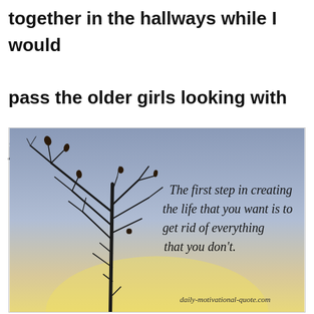together in the hallways while I would pass the older girls looking with judgement  as I walk by.
[Figure (photo): Photograph of a bare winter tree silhouetted against a blue-grey sky with an overlaid italic quote: 'The first step in creating the life that you want is to get rid of everything that you don't.' with attribution 'daily-motivational-quote.com']